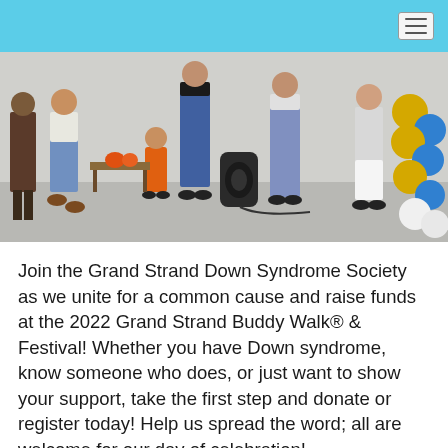[Figure (photo): Outdoor event scene showing several people gathered, including a woman crouching next to a young child in a costume, other adults standing, a portable speaker on the ground, and a decorative balloon column (gold and blue balloons) on the right side.]
Join the Grand Strand Down Syndrome Society as we unite for a common cause and raise funds at the 2022 Grand Strand Buddy Walk® & Festival! Whether you have Down syndrome, know someone who does, or just want to show your support, take the first step and donate or register today! Help us spread the word; all are welcome for our day of celebration!
To participate in this event, select the "REGISTER" button to set up a new or returning